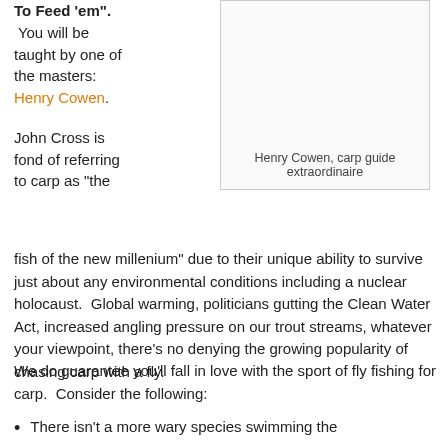To Feed 'em". You will be taught by one of the masters: Henry Cowen.
[Figure (photo): Photo placeholder box for Henry Cowen image]
Henry Cowen, carp guide extraordinaire
John Cross is fond of referring to carp as "the fish of the new millenium" due to their unique ability to survive just about any environmental conditions including a nuclear holocaust.  Global warming, politicians gutting the Clean Water Act, increased angling pressure on our trout streams, whatever your viewpoint, there's no denying the growing popularity of chasing carp with a fly.
We do guarantee you'll fall in love with the sport of fly fishing for carp.  Consider the following:
There isn't a more wary species swimming the